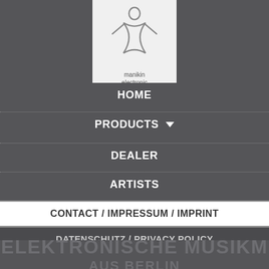[Figure (logo): Manikin Electronic logo: stylized figure with arms and legs spread, inside a rectangle, with text 'manikin electronic' below]
HOME
PRODUCTS ▼
DEALER
ARTISTS
CONTACT / IMPRESSUM / IMPRINT
DATENSCHUTZ / PRIVACY POLICY
ELEKTRONISCHE MUSIKM AUS BERLIN